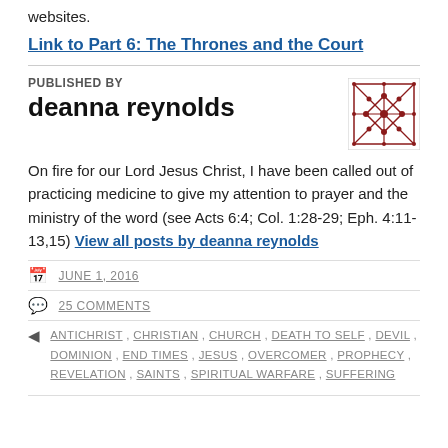websites.
Link to Part 6: The Thrones and the Court
PUBLISHED BY
deanna reynolds
On fire for our Lord Jesus Christ, I have been called out of practicing medicine to give my attention to prayer and the ministry of the word (see Acts 6:4; Col. 1:28-29; Eph. 4:11-13,15) View all posts by deanna reynolds
JUNE 1, 2016
25 COMMENTS
ANTICHRIST, CHRISTIAN, CHURCH, DEATH TO SELF, DEVIL, DOMINION, END TIMES, JESUS, OVERCOMER, PROPHECY, REVELATION, SAINTS, SPIRITUAL WARFARE, SUFFERING